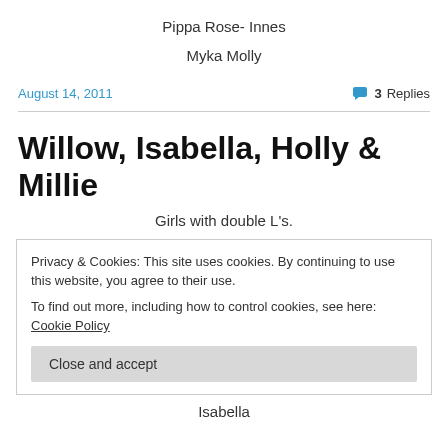Pippa Rose- Innes
Myka Molly
August 14, 2011
3 Replies
Willow, Isabella, Holly & Millie
Girls with double L's.
Privacy & Cookies: This site uses cookies. By continuing to use this website, you agree to their use.
To find out more, including how to control cookies, see here: Cookie Policy
Close and accept
Isabella